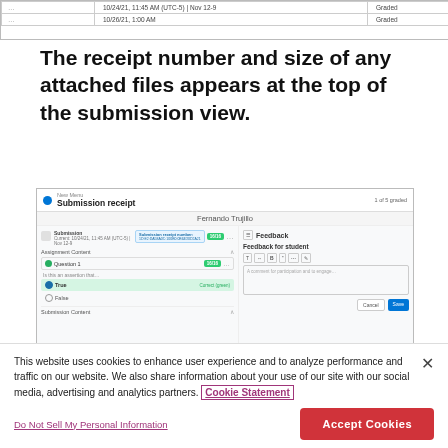[Figure (screenshot): Partial table showing rows with date/status columns at top of page]
The receipt number and size of any attached files appears at the top of the submission view.
[Figure (screenshot): Screenshot of a submission receipt view in an educational platform showing Fernando Trujillo's submission with receipt number, Question 1 with correct answer (True selected), feedback panel on the right, and Submission Content section at bottom.]
This website uses cookies to enhance user experience and to analyze performance and traffic on our website. We also share information about your use of our site with our social media, advertising and analytics partners. Cookie Statement
Do Not Sell My Personal Information
Accept Cookies